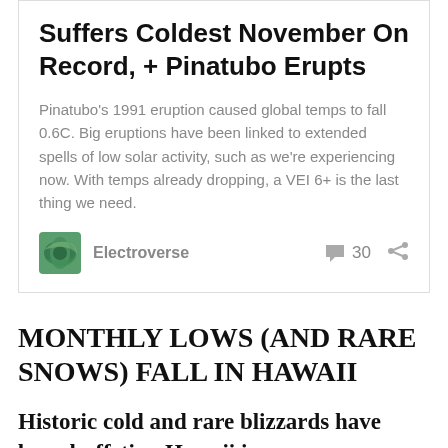Suffers Coldest November On Record, + Pinatubo Erupts
Pinatubo's 1991 eruption caused global temps to fall 0.6C. Big eruptions have been linked to extended spells of low solar activity, such as we're experiencing now. With temps already dropping, a VEI 6+ is the last thing we need.
Electroverse   30
MONTHLY LOWS (AND RARE SNOWS) FALL IN HAWAII
Historic cold and rare blizzards have been buffeting Hawaii in